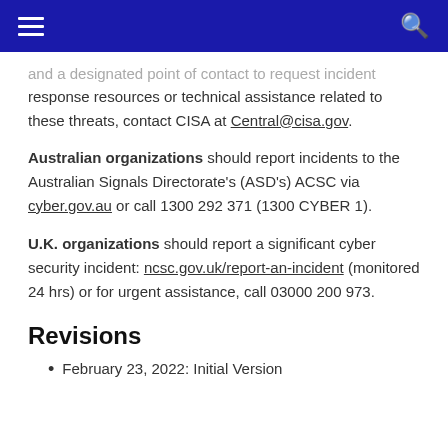Navigation bar with hamburger menu and search icon
and a designated point of contact to request incident response resources or technical assistance related to these threats, contact CISA at Central@cisa.gov.
Australian organizations should report incidents to the Australian Signals Directorate's (ASD's) ACSC via cyber.gov.au or call 1300 292 371 (1300 CYBER 1).
U.K. organizations should report a significant cyber security incident: ncsc.gov.uk/report-an-incident (monitored 24 hrs) or for urgent assistance, call 03000 200 973.
Revisions
February 23, 2022: Initial Version